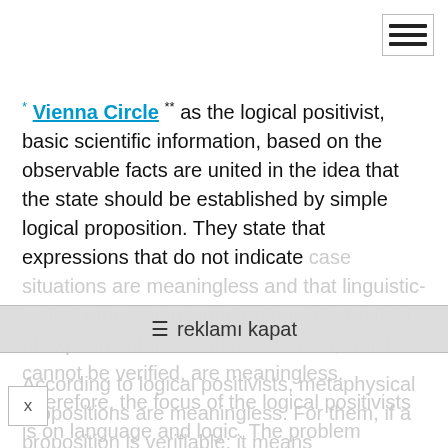Vienna Circle as the logical positivist, basic scientific information, based on the observable facts are united in the idea that the state should be established by simple logical proposition. They state that expressions that do not indicate case situations are meaningless and that linguistic-logical propositions that are outside the field of experimentation and observation, which cannot be verified, are meaningless. Therefore, the focus of the logical positivists is on language and logic. The problem addressed is the problem of meaning of propositions. What is to be done is to distinguish the metaphysical propositions which cannot be verified by the field of experiment and observation from the other ones.
According to logical positivists, metaphysical propositions are meaningless. For them, if a proposition is verifiable; it means